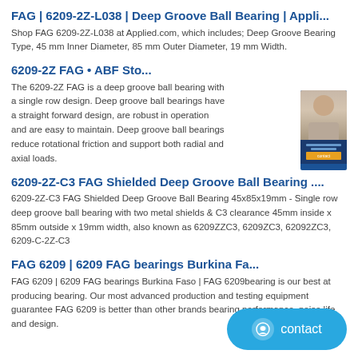FAG | 6209-2Z-L038 | Deep Groove Ball Bearing | Appli...
Shop FAG 6209-2Z-L038 at Applied.com, which includes; Deep Groove Bearing Type, 45 mm Inner Diameter, 85 mm Outer Diameter, 19 mm Width.
6209-2Z FAG • ABF Sto...
The 6209-2Z FAG is a deep groove ball bearing with a single row design. Deep groove ball bearings have a straight forward design, are robust in operation and are easy to maintain. Deep groove ball bearings reduce rotational friction and support both radial and axial loads.
6209-2Z-C3 FAG Shielded Deep Groove Ball Bearing ....
6209-2Z-C3 FAG Shielded Deep Groove Ball Bearing 45x85x19mm - Single row deep groove ball bearing with two metal shields & C3 clearance 45mm inside x 85mm outside x 19mm width, also known as 6209ZZC3, 6209ZC3, 62092ZC3, 6209-C-2Z-C3
FAG 6209 | 6209 FAG bearings Burkina Fa...
FAG 6209 | 6209 FAG bearings Burkina Faso | FAG 6209bearing is our best at producing bearing. Our most advanced production and testing equipment guarantee FAG 6209 is better than other brands bearing performance, noise life, and design.